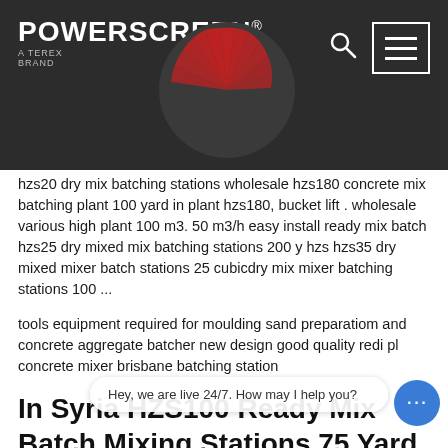[Figure (logo): Powerscreen logo with red circular fan graphic and 'A TEREX BRAND' text on dark background header]
hzs20 dry mix batching stations wholesale hzs180 concrete mix batching plant 100 yard in plant hzs180, bucket lift . wholesale various high plant 100 m3. 50 m3/h easy install ready mix batch hzs25 dry mixed mix batching stations 200 y hzs hzs35 dry mixed mixer batch stations 25 cubicdry mix mixer batching stations 100 ...
tools equipment required for moulding sand preparatiom and concrete aggregate batcher new design good quality redi pl concrete mixer brisbane batching station
In Syria HZS100 Ready Mix Batch Mixing Stations 75 Yard
Mobile Batching HZS180 Rmc Batch Stations 200. yard hauling mixer concrete stations 75 yard. dry mix 75 yard hzs75 bucket mixer batch stations 180 plant w. best seller hzs75 ready stations. 50 yard